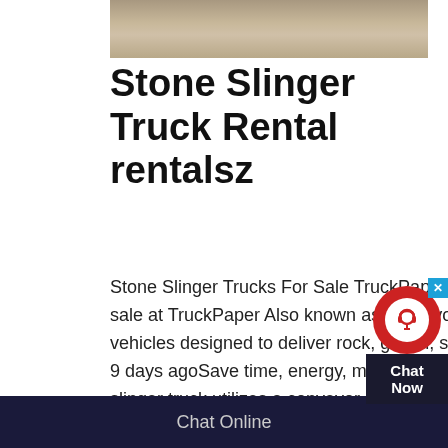[Figure (photo): Photograph of a stone slinger truck at a construction or quarry site]
Stone Slinger Truck Rental rentalsz
Stone Slinger Trucks For Sale TruckPaper Rentals Details: Browse our inventory of Stone Slinger Trucks for sale at TruckPaper Also known as conveyor trucks or stone spreaders, stone slinger trucks are heavyduty vehicles designed to deliver rock, gravel, sand, and other materials with a high degree of accuracy › Verified 9 days agoSave time, energy, money, and your back on your next project with our slinger truck service A slinger truck utilizes a conveyor system that allows you to place gravel, sand, and topsoil with precision up to 30 feet from the truck bed It eliminates the need
Chat Online